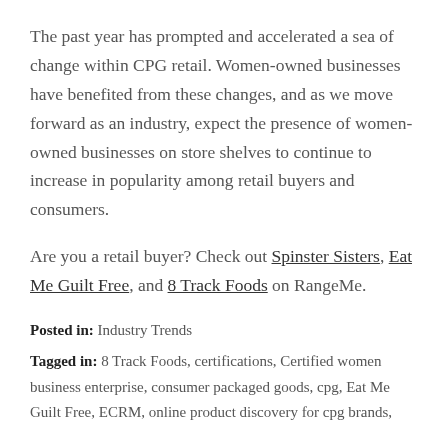The past year has prompted and accelerated a sea of change within CPG retail. Women-owned businesses have benefited from these changes, and as we move forward as an industry, expect the presence of women-owned businesses on store shelves to continue to increase in popularity among retail buyers and consumers.
Are you a retail buyer? Check out Spinster Sisters, Eat Me Guilt Free, and 8 Track Foods on RangeMe.
Posted in: Industry Trends
Tagged in: 8 Track Foods, certifications, Certified women business enterprise, consumer packaged goods, cpg, Eat Me Guilt Free, ECRM, online product discovery for cpg brands,